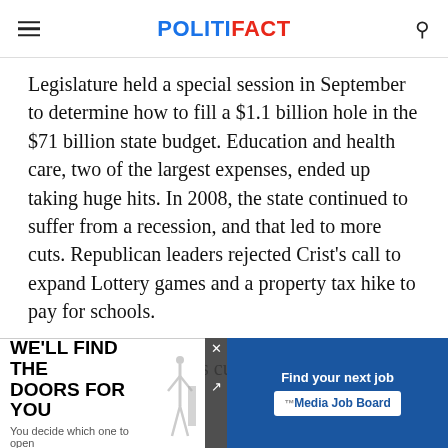POLITIFACT
Legislature held a special session in September to determine how to fill a $1.1 billion hole in the $71 billion state budget. Education and health care, two of the largest expenses, ended up taking huge hits. In 2008, the state continued to suffer from a recession, and that led to more cuts. Republican leaders rejected Crist's call to expand Lottery games and a property tax hike to pay for schools.
Ultimately, lawmakers cut K-12 by more than $300
[Figure (other): Advertisement overlay: 'We'll Find The Doors For You - You decide which one to open' with Media Job Board ad on the right side]